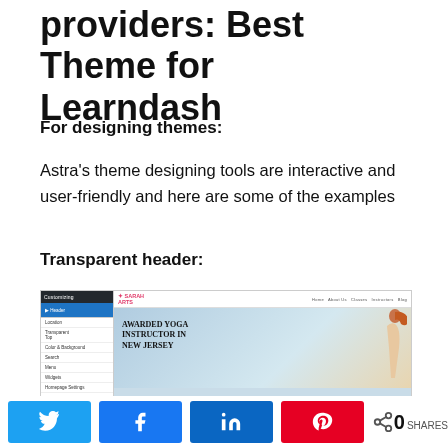providers: Best Theme for Learndash
For designing themes:
Astra's theme designing tools are interactive and user-friendly and here are some of the examples
Transparent header:
[Figure (screenshot): Screenshot of a WordPress theme customizer panel on the left with a live preview of a yoga instructor website on the right, showing the text 'AWARDED YOGA INSTRUCTOR IN NEW JERSEY']
Social share buttons: Twitter, Facebook, LinkedIn, Pinterest. 0 SHARES